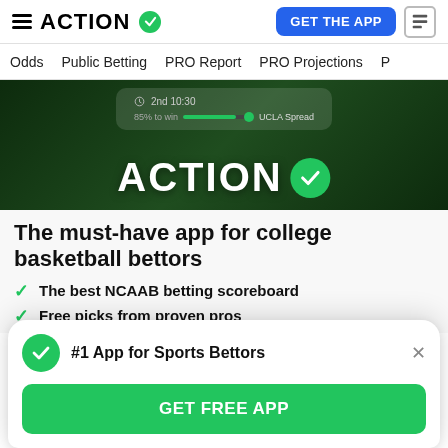ACTION
GET THE APP
Odds  Public Betting  PRO Report  PRO Projections
[Figure (screenshot): Dark green basketball scoreboard screenshot showing '2nd 10:30', '85% to win', 'UCLA Spread' with a progress bar and the ACTION logo with checkmark in white on dark background]
The must-have app for college basketball bettors
The best NCAAB betting scoreboard
Free picks from proven pros
#1 App for Sports Bettors
GET FREE APP